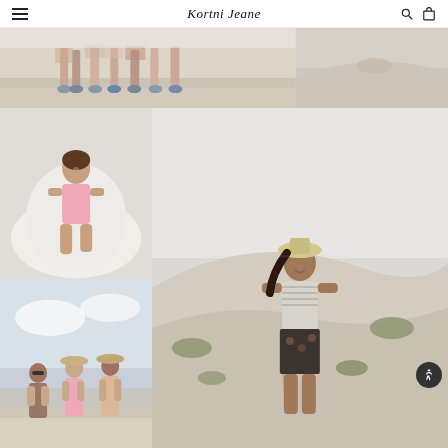Kortni Jeane - navigation header with hamburger menu, logo, search and bag icons
[Figure (photo): Top-left photo: feet/legs of a group of people standing on sand dunes]
[Figure (photo): Top-right photo: close-up of sand dune with hand or object partially visible]
[Figure (photo): Middle-left photo: young woman in pink swimsuit sitting on white sculptural object on sand]
[Figure (photo): Bottom-left photo: three women in swimsuits standing on beach with cloudy sky]
[Figure (photo): Large right photo: woman wearing hat and striped top with floral shorts standing among sand dunes and sparse shrubs]